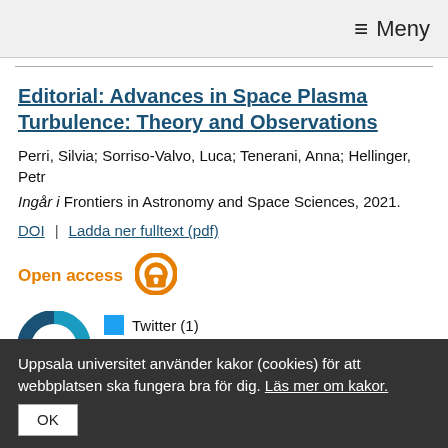≡ Meny
Editorial: Advances in Space Plasma Turbulence: Theory and Observations
Perri, Silvia; Sorriso-Valvo, Luca; Tenerani, Anna; Hellinger, Petr
Ingår i Frontiers in Astronomy and Space Sciences, 2021.
DOI | Ladda ner fulltext (pdf)
Open access
[Figure (infographic): Open access orange padlock icon]
[Figure (infographic): Altmetric donut badge showing score 1, with Twitter (1) and Mendeley (2) counts]
Uppsala universitet använder kakor (cookies) för att webbplatsen ska fungera bra för dig. Läs mer om kakor.